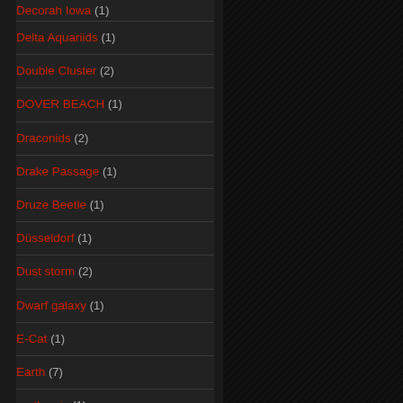Delta Aquariids (1)
Double Cluster (2)
DOVER BEACH (1)
Draconids (2)
Drake Passage (1)
Druze Beetle (1)
Düsseldorf (1)
Dust storm (2)
Dwarf galaxy (1)
E-Cat (1)
Earth (7)
earth axis (1)
earth orbit (1)